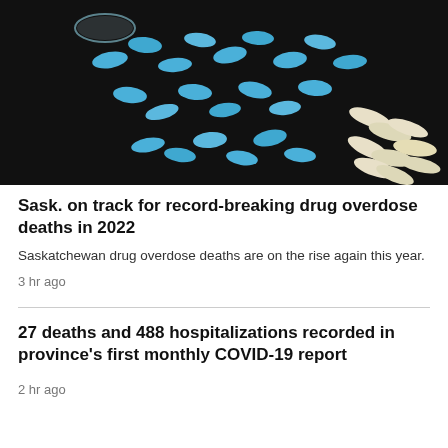[Figure (photo): Blue round pills scattered on a dark surface alongside white capsule pills, spilling from a container]
Sask. on track for record-breaking drug overdose deaths in 2022
Saskatchewan drug overdose deaths are on the rise again this year.
3 hr ago
27 deaths and 488 hospitalizations recorded in province's first monthly COVID-19 report
2 hr ago